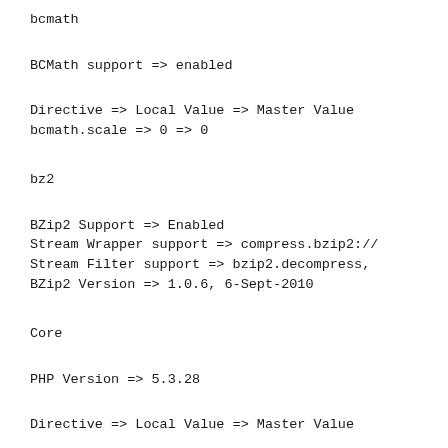bcmath
BCMath support => enabled
Directive => Local Value => Master Value
bcmath.scale => 0 => 0
bz2
BZip2 Support => Enabled
Stream Wrapper support => compress.bzip2://
Stream Filter support => bzip2.decompress,
BZip2 Version => 1.0.6, 6-Sept-2010
Core
PHP Version => 5.3.28
Directive => Local Value => Master Value